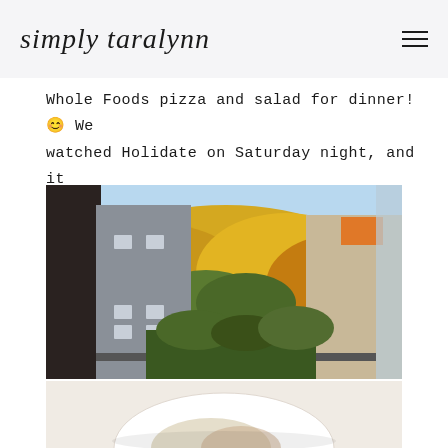simply taralynn
Whole Foods pizza and salad for dinner! 😊 We watched Holidate on Saturday night, and it was cute!
[Figure (photo): Outdoor view showing a modern grey building with fall foliage — yellow and orange trees behind it, blue sky above. View appears to be from a window or doorway.]
[Figure (photo): Partial view of a plate with food, white background, bottom of page.]